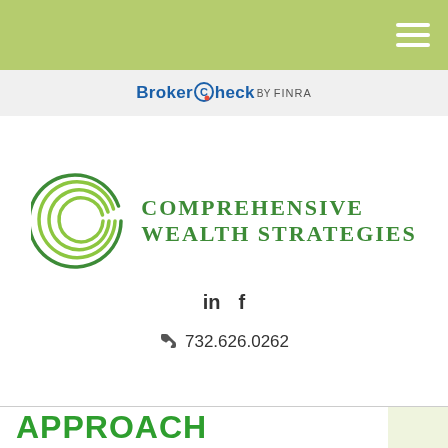[Figure (logo): Green top navigation bar with hamburger menu icon (three white horizontal lines) on the right side]
[Figure (logo): BrokerCheck by FINRA logo in a light gray header bar]
[Figure (logo): Comprehensive Wealth Strategies logo with concentric green arcs on the left and company name in green serif uppercase text on the right]
in  f
732.626.0262
APPROACH